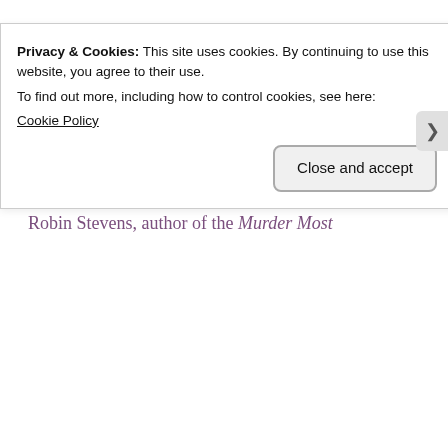Meeting an author is, of course, a treat without a badge. The best reason to go to an author talk or signing is to hear about the story or learn about the author's experience of the craft.
Advertisements
However. Badges are sometimes available.
Robin Stevens, author of the Murder Most
Privacy & Cookies: This site uses cookies. By continuing to use this website, you agree to their use.
To find out more, including how to control cookies, see here:
Cookie Policy